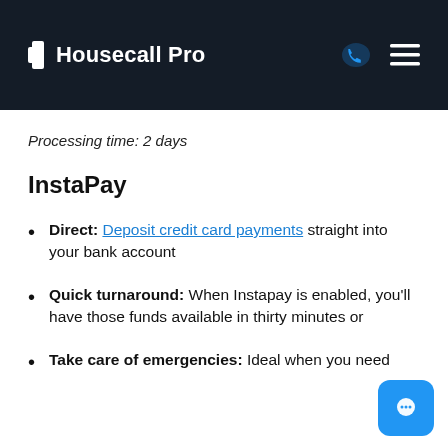Housecall Pro
Processing time: 2 days
InstaPay
Direct: Deposit credit card payments straight into your bank account
Quick turnaround: When Instapay is enabled, you'll have those funds available in thirty minutes or
Take care of emergencies: Ideal when you need